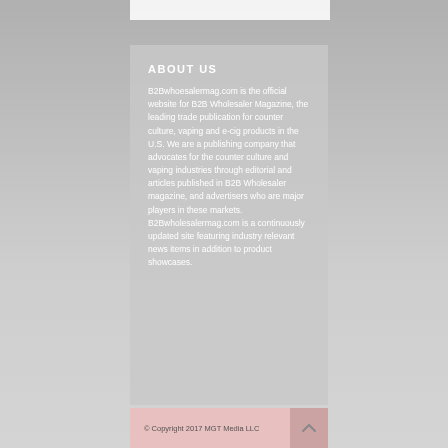ABOUT US
B2Bwhoesalermag.com is the official website for B2B Wholesaler Magazine, the leading trade publication for counter culture, vaping and e-cig products in the U.S. We are a publishing company that advocates for the counter culture and vaping industries through editorial and articles published in B2B Wholesaler magazine, and advertisers who are major players in these markets. B2Bwholesalermag.com is a continuously updated site featuring industry relevant news items in addition to product showcases.
© Copyright 2017 MGT Media LLC